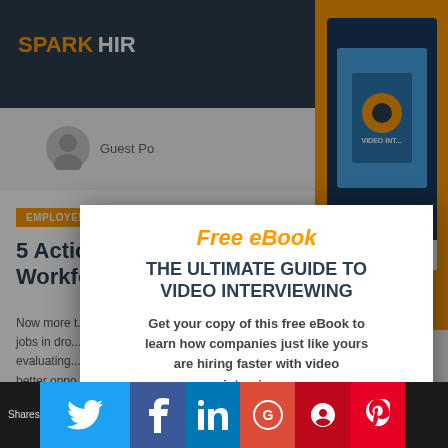SPARK HIRE
Guest Po...
[Figure (illustration): Spark Hire eBook cover showing animated female presenter on a laptop screen with orange background book graphic]
EMPLOYEE EN...
5 Action... Workfor...
Now more t... jobs in dro... evaluating... better oppo...
[Figure (screenshot): Popup modal overlay with Free eBook offer for The Ultimate Guide to Video Interviewing by Spark Hire, with CTA button and OptinMonster branding]
Free eBook
THE ULTIMATE GUIDE TO VIDEO INTERVIEWING
Get your copy of this free eBook to learn how companies just like yours are hiring faster with video interviews.
Yes, I Want the Free eBook!
No Thanks
Shares